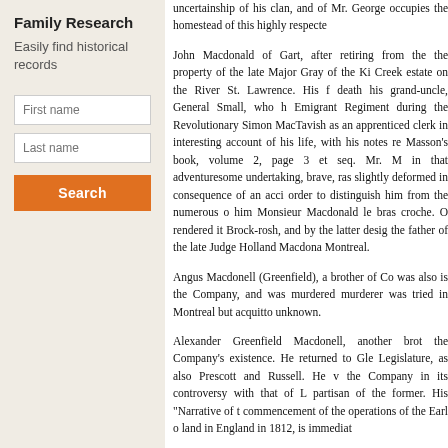Family Research
Easily find historical records
First name
Last name
Search
uncertainship of his clan, and of Mr. George... occupies the homestead of this highly respecte...
John Macdonald of Gart, after retiring from the... the property of the late Major Gray of the Ki... Creek estate on the River St. Lawrence. His f... death his grand-uncle, General Small, who h... Emigrant Regiment during the Revolutionary ... Simon MacTavish as an apprenticed clerk in ... interesting account of his life, with his notes re... Masson's book, volume 2, page 3 et seq. Mr. M... in that adventuresome undertaking, brave, ras... slightly deformed in consequence of an acci... order to distinguish him from the numerous o... him Monsieur Macdonald le bras croche. O... rendered it Brock-rosh, and by the latter desig... the father of the late Judge Holland Macdona... Montreal.
Angus Macdonell (Greenfield), a brother of Co... was also is the Company, and was murdered... murderer was tried in Montreal but acquitto... unknown.
Alexander Greenfield Macdonell, another brot... the Company's existence. He returned to Gle... Legislature, as also Prescott and Russell. He v... the Company in its controversy with that of L... partisan of the former. His "Narrative of t... commencement of the operations of the Earl o... ...land in England in 1812, is immediately ...